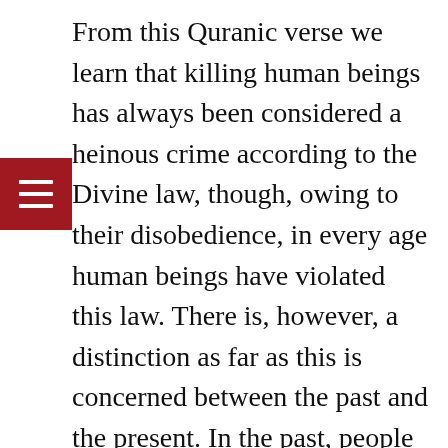From this Quranic verse we learn that killing human beings has always been considered a heinous crime according to the Divine law, though, owing to their disobedience, in every age human beings have violated this law. There is, however, a distinction as far as this is concerned between the past and the present. In the past, people would kill others generally for their personal interests or in revenge. That is why in the past, such killings were limited.
In present times, in contrast, killing of fellow humans has assumed a new form. This is what can be called ‘ideological murder’. That is to say, killing people on the basis of a particular ideology, or shedding human blood on the basis